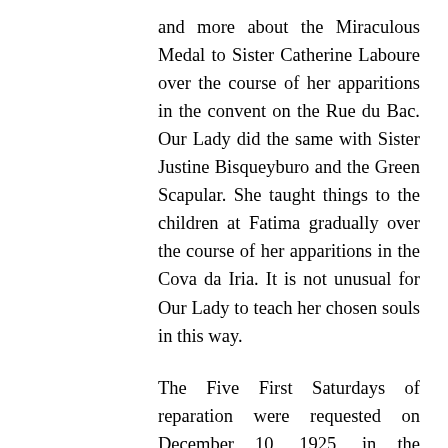and more about the Miraculous Medal to Sister Catherine Laboure over the course of her apparitions in the convent on the Rue du Bac. Our Lady did the same with Sister Justine Bisqueyburo and the Green Scapular. She taught things to the children at Fatima gradually over the course of her apparitions in the Cova da Iria. It is not unusual for Our Lady to teach her chosen souls in this way.
The Five First Saturdays of reparation were requested on December 10, 1925, in the following manner:
Have compassion on the heart of your most holy Mother, covered with thorns with which ungrateful men pierce it at every moment, and there is no one to make an act of reparation. Look, my